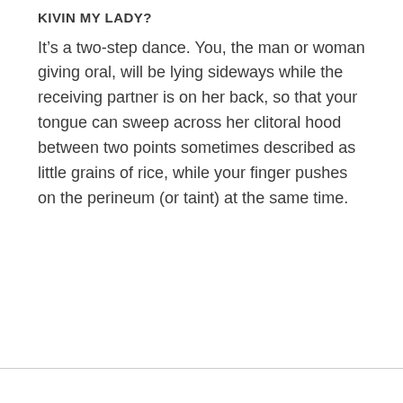KIVIN MY LADY?
It’s a two-step dance. You, the man or woman giving oral, will be lying sideways while the receiving partner is on her back, so that your tongue can sweep across her clitoral hood between two points sometimes described as little grains of rice, while your finger pushes on the perineum (or taint) at the same time.